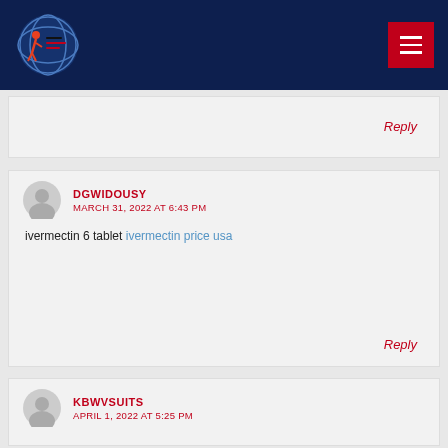[Figure (logo): Abayuuti Community Group logo with globe and figure icon on dark navy navigation bar with hamburger menu button]
Reply
DGWIDOUSY
MARCH 31, 2022 AT 6:43 PM
ivermectin 6 tablet ivermectin price usa
Reply
KBWVSUITS
APRIL 1, 2022 AT 5:25 PM